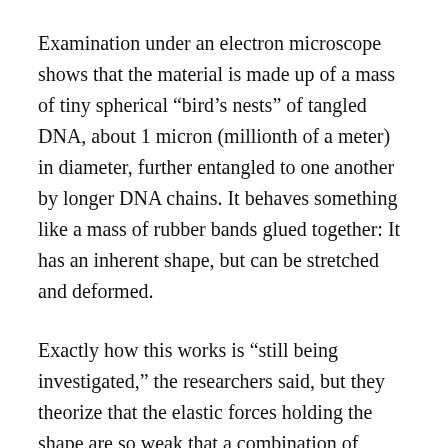Examination under an electron microscope shows that the material is made up of a mass of tiny spherical “bird’s nests” of tangled DNA, about 1 micron (millionth of a meter) in diameter, further entangled to one another by longer DNA chains. It behaves something like a mass of rubber bands glued together: It has an inherent shape, but can be stretched and deformed.
Exactly how this works is “still being investigated,” the researchers said, but they theorize that the elastic forces holding the shape are so weak that a combination of surface tension and gravity overcomes them; the gel just sags into a loose blob. But when it is immersed in water,